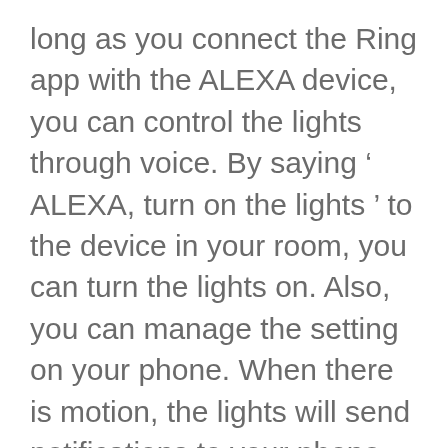long as you connect the Ring app with the ALEXA device, you can control the lights through voice. By saying ‘ ALEXA, turn on the lights ’ to the device in your room, you can turn the lights on. Also, you can manage the setting on your phone. When there is motion, the lights will send notifications to your phone. This is intellectual and convenient.
Besides, the lights come with an automatic motion sensor. The sensor is very sensitive and can detect motions quickly, so it can work as security lights